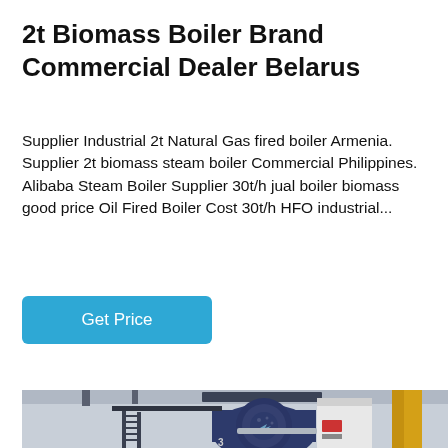2t Biomass Boiler Brand Commercial Dealer Belarus
Supplier Industrial 2t Natural Gas fired boiler Armenia. Supplier 2t biomass steam boiler Commercial Philippines. Alibaba Steam Boiler Supplier 30t/h jual boiler biomass good price Oil Fired Boiler Cost 30t/h HFO industrial...
Get Price
[Figure (photo): Industrial boiler installation showing a large blue steam boiler with circular burner assembly, metal staircases and walkways, yellow pipes on the right side, inside an industrial facility.]